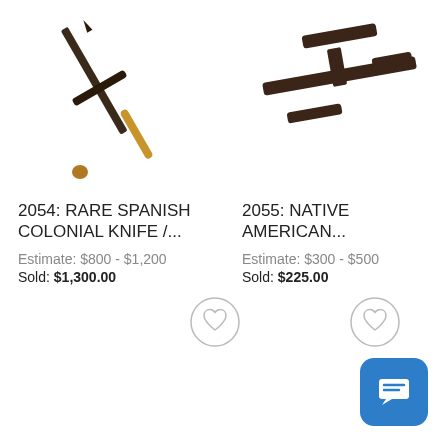[Figure (photo): Antique Spanish colonial knife with gold/brass handle, photographed at an angle on white background]
[Figure (photo): Native American artifact, dark metal implement with cross-bar shape, photographed on white background]
2054: RARE SPANISH COLONIAL KNIFE /...
Estimate: $800 - $1,200
Sold: $1,300.00
2055: NATIVE AMERICAN...
Estimate: $300 - $500
Sold: $225.00